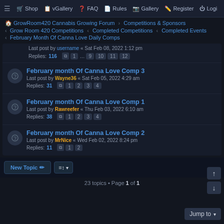≡  Shop  vGallery  FAQ  Rules  Gallery  Register  Logi
GrowRoom420 Cannabis Growing Forum › Competitions & Sponsors
‹ Grow Room 420 Competitions ‹ Completed Competitions ‹ Completed Events
‹ February Month Of Canna Love Daily Comps
Replies: 116  1 … 9 10 11 12
February month Of Canna Love Comp 3
Last post by Wayne36 « Sat Feb 05, 2022 4:29 am
Replies: 31
February month Of Canna Love Comp 1
Last post by Rawreefer « Thu Feb 03, 2022 6:10 am
Replies: 38
February month Of Canna Love Comp 2
Last post by MrNice « Wed Feb 02, 2022 8:24 pm
Replies: 11
23 topics • Page 1 of 1
New Topic
Jump to